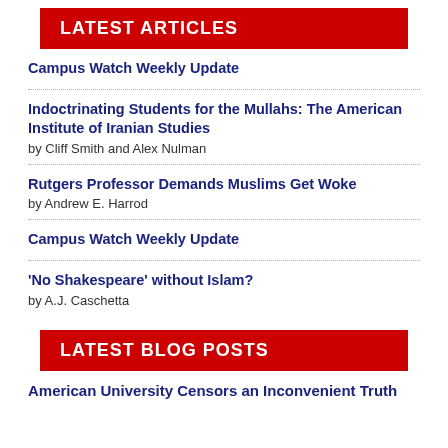LATEST ARTICLES
Campus Watch Weekly Update
Indoctrinating Students for the Mullahs: The American Institute of Iranian Studies
by Cliff Smith and Alex Nulman
Rutgers Professor Demands Muslims Get Woke
by Andrew E. Harrod
Campus Watch Weekly Update
'No Shakespeare' without Islam?
by A.J. Caschetta
LATEST BLOG POSTS
American University Censors an Inconvenient Truth